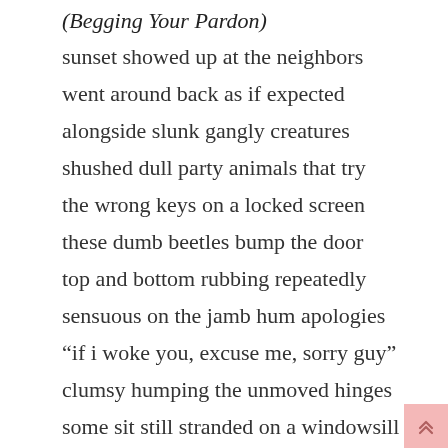(Begging Your Pardon)
sunset showed up at the neighbors
went around back as if expected
alongside slunk gangly creatures
shushed dull party animals that try
the wrong keys on a locked screen
these dumb beetles bump the door
top and bottom rubbing repeatedly
sensuous on the jamb hum apologies
“if i woke you, excuse me, sorry guy”
clumsy humping the unmoved hinges
some sit still stranded on a windowsill
in wait for their turn to murmur numbly
planning an incessant sidelong skitter